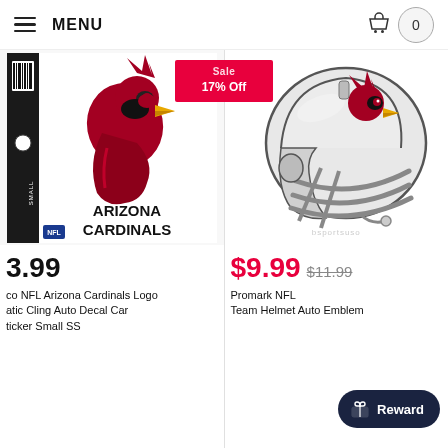MENU  0
[Figure (other): Arizona Cardinals Logo Static Cling Auto Decal sticker product image]
[Figure (other): Promark NFL Team Helmet Auto Emblem product image]
bsportsuso
3.99
$9.99  $11.99
co NFL Arizona Cardinals Logo atic Cling Auto Decal Car ticker Small SS
Promark NFL Team Helmet Auto Emblem